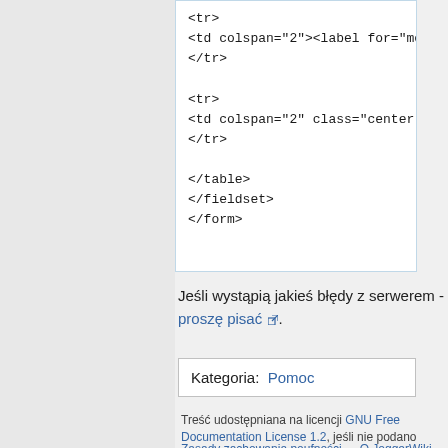<tr>
<td colspan="2"><label for="mes
</tr>

<tr>
<td colspan="2" class="center">
</tr>

</table>
</fieldset>
</form>
Jeśli wystąpią jakieś błędy z serwerem - proszę pisać.
Kategoria:  Pomoc
Treść udostępniana na licencji GNU Free Documentation License 1.2, jeśli nie podano inaczej.
Zasady zachowania poufności   O JoggerWiki